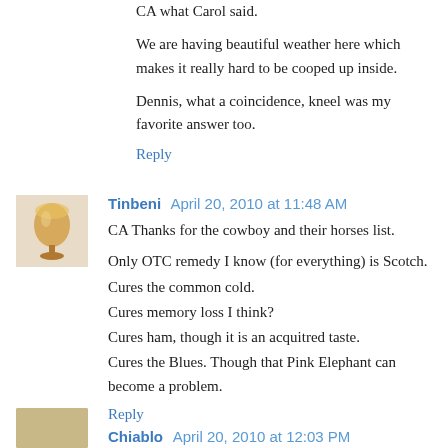CA what Carol said.
We are having beautiful weather here which makes it really hard to be cooped up inside.
Dennis, what a coincidence, kneel was my favorite answer too.
Reply
Tinbeni  April 20, 2010 at 11:48 AM
CA Thanks for the cowboy and their horses list.
Only OTC remedy I know (for everything) is Scotch.
Cures the common cold.
Cures memory loss I think?
Cures ham, though it is an acquitred taste.
Cures the Blues. Though that Pink Elephant can become a problem.
Reply